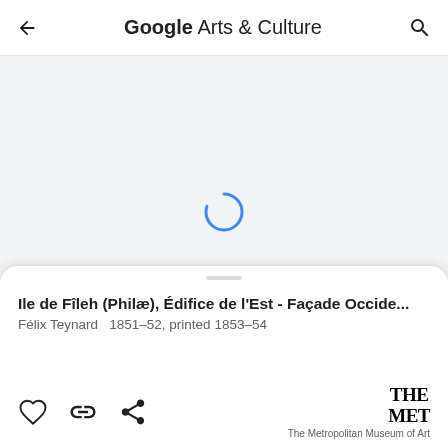Google Arts & Culture
[Figure (screenshot): Loading spinner (blue arc circle) on a light grey background representing an image loading area]
Zoom in
Ile de Fîleh (Philæ), Édifice de l'Est - Façade Occide...
Félix Teynard   1851–52, printed 1853–54
[Figure (logo): THE MET logo - The Metropolitan Museum of Art]
The Metropolitan Museum of Art